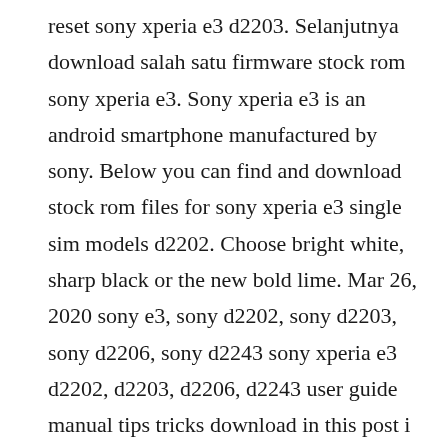reset sony xperia e3 d2203. Selanjutnya download salah satu firmware stock rom sony xperia e3. Sony xperia e3 is an android smartphone manufactured by sony. Below you can find and download stock rom files for sony xperia e3 single sim models d2202. Choose bright white, sharp black or the new bold lime. Mar 26, 2020 sony e3, sony d2202, sony d2203, sony d2206, sony d2243 sony xperia e3 d2202, d2203, d2206, d2243 user guide manual tips tricks download in this post i am posting a link of pdf file that will help